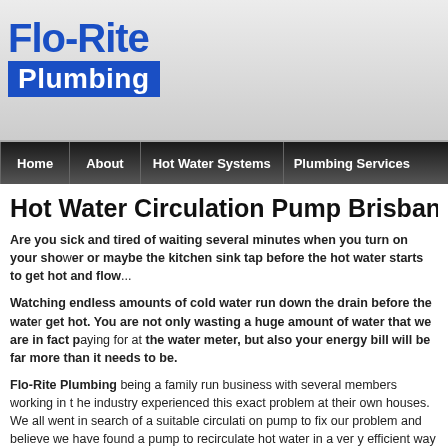[Figure (logo): Flo-Rite Plumbing logo with blue text and blue background bar]
Home | About | Hot Water Systems | Plumbing Services
Hot Water Circulation Pump Brisbane
Are you sick and tired of waiting several minutes when you turn on your shower or maybe the kitchen sink tap before the hot water starts to get hot and flow...
Watching endless amounts of cold water run down the drain before the water gets hot. You are not only wasting a huge amount of water that we are in fact paying for at the water meter, but also your energy bill will be far more than it needs to be.
Flo-Rite Plumbing being a family run business with several members working in the industry experienced this exact problem at their own houses. We all went in search of a suitable circulation pump to fix our problem and believe we have found a pump to recirculate hot water in a very efficient way without wasting endless amounts of cold water and all at a very low running cost.
AUTOCIRC Hot Water Circulating Pump